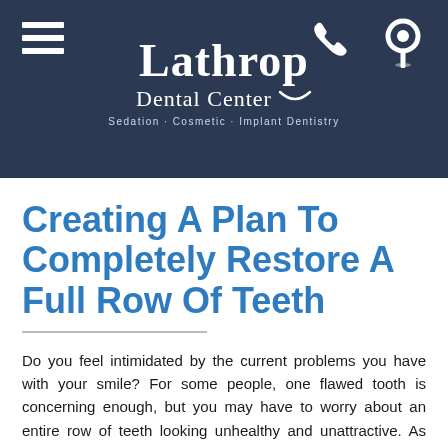[Figure (logo): Lathrop Dental Center logo with hamburger menu icon, phone icon, and location pin icon on dark navy background. Logo reads 'Lathrop Dental Center - Sedation · Cosmetic · Implant Dentistry']
Creating A Plan To Completely Restore A Full Row Of Teeth
Do you feel intimidated by the current problems you have with your smile? For some people, one flawed tooth is concerning enough, but you may have to worry about an entire row of teeth looking unhealthy and unattractive. As much as you might like to do something about this